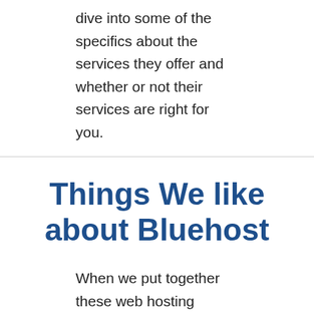dive into some of the specifics about the services they offer and whether or not their services are right for you.
Things We like about Bluehost
When we put together these web hosting reviews, our goal is to give you an unbiased report.
We try to transmit the information that reflects our personal experience and the personal